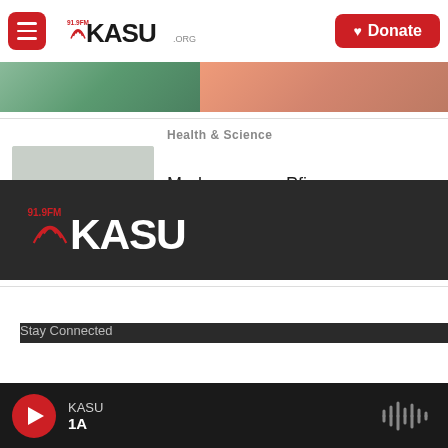91.9FM KASU.ORG — Donate
[Figure (screenshot): Partial cropped image strip showing colorful artwork at the top of the page]
[Figure (photo): A medical syringe/needle photograph used as thumbnail for the Moderna vs Pfizer article]
Health & Science
Moderna sues Pfizer over COVID-19 vaccine patents
[Figure (logo): KASU 91.9FM logo in white on dark background in footer]
Stay Connected
KASU — 1A — Play button and audio wave icon